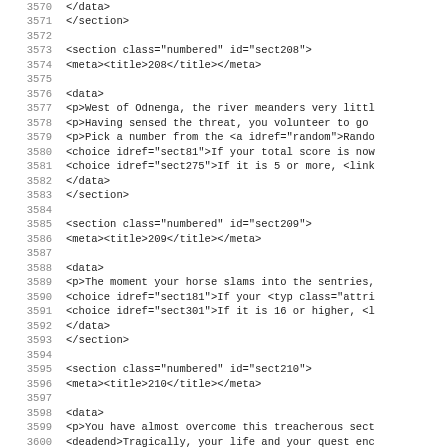3570     </data>
3571     </section>
3572
3573     <section class="numbered" id="sect208">
3574      <meta><title>208</title></meta>
3575
3576      <data>
3577       <p>West of Odnenga, the river meanders very littl
3578       <p>Having sensed the threat, you volunteer to go
3579       <p>Pick a number from the <a idref="random">Rando
3580       <choice idref="sect81">If your total score is now
3581       <choice idref="sect275">If it is 5 or more, <link
3582      </data>
3583     </section>
3584
3585     <section class="numbered" id="sect209">
3586      <meta><title>209</title></meta>
3587
3588      <data>
3589       <p>The moment your horse slams into the sentries,
3590       <choice idref="sect181">If your <typ class="attri
3591       <choice idref="sect301">If it is 16 or higher, <l
3592      </data>
3593     </section>
3594
3595     <section class="numbered" id="sect210">
3596      <meta><title>210</title></meta>
3597
3598      <data>
3599       <p>You have almost overcome this treacherous sect
3600       <deadend>Tragically, your life and your quest enc
3601      </data>
3602     </section>